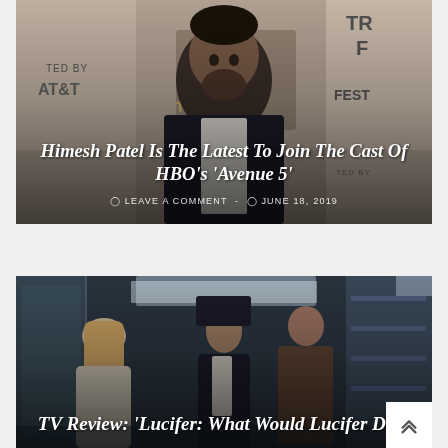[Figure (photo): Photo of Himesh Patel at a Tribeca Film Festival event with AT&T and Stella Artois branding in background]
Himesh Patel Is The Latest To Join The Cast Of HBO’s ‘Avenue 5’
LEAVE A COMMENT - JUNE 18, 2019
[Figure (photo): TV screenshot from Lucifer episode showing characters in an interior setting]
TV Review: ‘Lucifer: What Would Lucifer Do?’